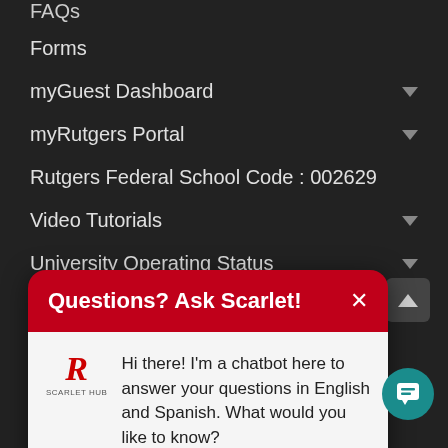FAQs
Forms
myGuest Dashboard
myRutgers Portal
Rutgers Federal School Code : 002629
Video Tutorials
University Operating Status
[Figure (screenshot): Chatbot popup titled 'Questions? Ask Scarlet!' with Rutgers Scarlet Hub logo and message: Hi there! I'm a chatbot here to answer your questions in English and Spanish. What would you like to know?]
Get my refund